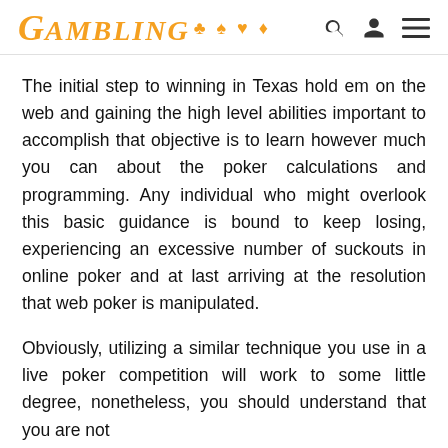GAMBLING
The initial step to winning in Texas hold em on the web and gaining the high level abilities important to accomplish that objective is to learn however much you can about the poker calculations and programming. Any individual who might overlook this basic guidance is bound to keep losing, experiencing an excessive number of suckouts in online poker and at last arriving at the resolution that web poker is manipulated.
Obviously, utilizing a similar technique you use in a live poker competition will work to some little degree, nonetheless, you should understand that you are not